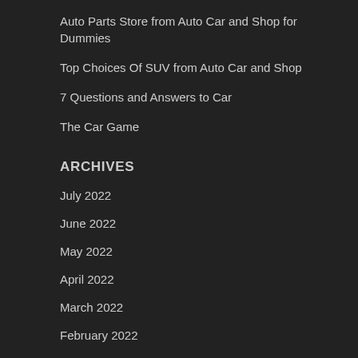Auto Parts Store from Auto Car and Shop for Dummies
Top Choices Of SUV from Auto Car and Shop
7 Questions and Answers to Car
The Car Game
ARCHIVES
July 2022
June 2022
May 2022
April 2022
March 2022
February 2022
January 2022
December 2021